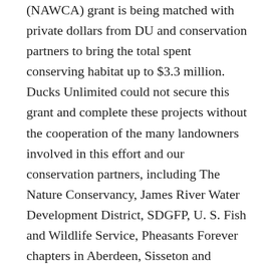(NAWCA) grant is being matched with private dollars from DU and conservation partners to bring the total spent conserving habitat up to $3.3 million. Ducks Unlimited could not secure this grant and complete these projects without the cooperation of the many landowners involved in this effort and our conservation partners, including The Nature Conservancy, James River Water Development District, SDGFP, U. S. Fish and Wildlife Service, Pheasants Forever chapters in Aberdeen, Sisseton and Mitchell, Izaak Walton League of America, Brown County Whitetails Unlimited, High Plains Wildlife Association, the Sportsman's Club of Brown County, and the Grass Lake Conservation Club.